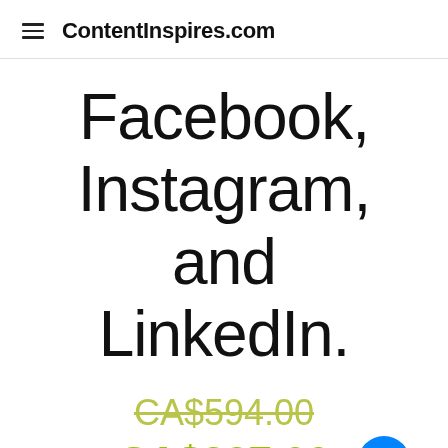ContentInspires.com
Facebook, Instagram, and LinkedIn.
CA$594.00
CA$297.00